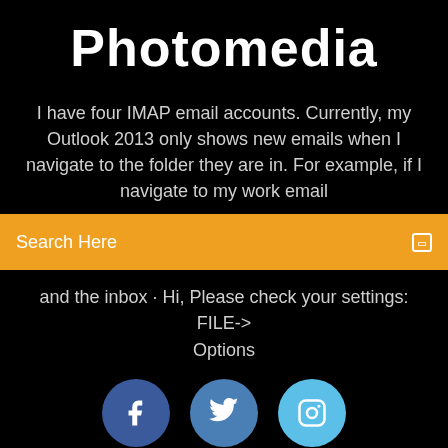Photomedia
I have four IMAP email accounts. Currently, my Outlook 2013 only shows new emails when I navigate to the folder they are in. For example, if I navigate to my work email
Search Here
and the inbox · Hi, Please check your settings: FILE-> Options
[Figure (infographic): Three social media icon circles: Facebook (dark blue), Twitter (medium blue), Instagram (light blue)]
Asce 70 Wind Provions Guide Pdf Free Download
Avast Secureline Mod Apk Download
Cs Fsu How To Download Files · Xtra Pc Download Free